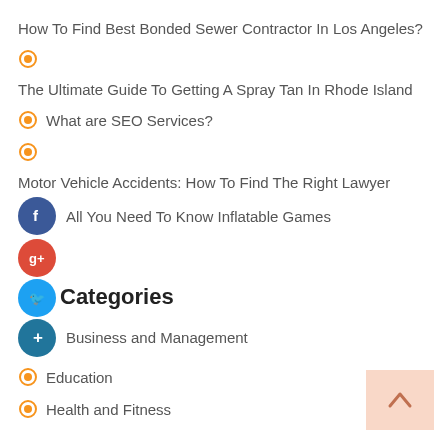How To Find Best Bonded Sewer Contractor In Los Angeles?
The Ultimate Guide To Getting A Spray Tan In Rhode Island
What are SEO Services?
Motor Vehicle Accidents: How To Find The Right Lawyer
All You Need To Know Inflatable Games
Categories
Business and Management
Education
Health and Fitness